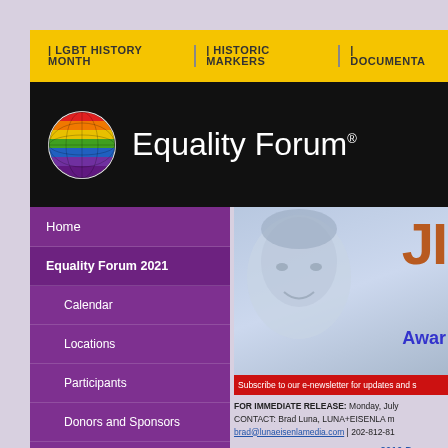LGBT HISTORY MONTH | HISTORIC MARKERS | DOCUMENTA
[Figure (logo): Equality Forum logo with rainbow globe and white text on black background]
Home
Equality Forum 2021
Calendar
Locations
Participants
Donors and Sponsors
Photo Gallery Archives
SUPPORT EQUALITY
About Us
Press Room
[Figure (photo): Banner image with person's face and JIM Award text overlay]
Subscribe to our e-newsletter for updates and s
FOR IMMEDIATE RELEASE: Monday, July
CONTACT: Brad Luna, LUNA+EISENLA m
brad@lunaeisenlamedia.com | 202-812-81
2016 Democra
Oscar-Winner Dusti Historic Marker to F